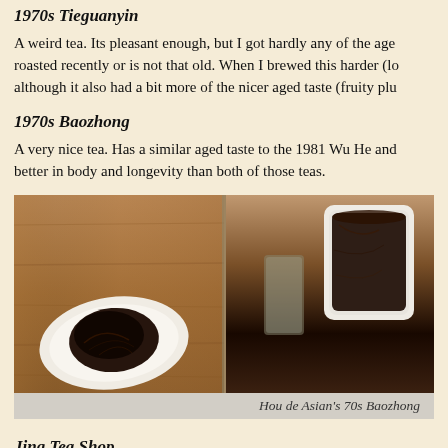1970s Tieguanyin
A weird tea. Its pleasant enough, but I got hardly any of the age roasted recently or is not that old. When I brewed this harder (lo although it also had a bit more of the nicer aged taste (fruity plu
1970s Baozhong
A very nice tea. Has a similar aged taste to the 1981 Wu He and better in body and longevity than both of those teas.
[Figure (photo): Two photos side by side: left shows dark rolled tea leaves on a white triangular dish on a wooden surface; right shows dark tea leaves in a white cup with a glass pitcher nearby.]
Hou de Asian's 70s Baozhong
Jing Tea Shop
Had their 1995 Rou Gui from a Yancha order.